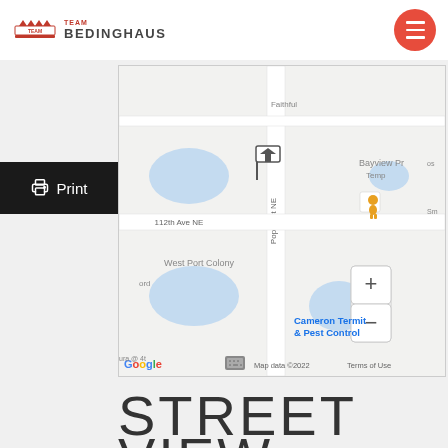Team Bedinghaus
[Figure (map): Google Maps screenshot showing a neighborhood map with streets including 112th Ave NE, Poplar St NE, West Port Colony, Bayview Pr area, and a home listing pin marker. Map controls (+/-), Street View pegman, and a business label 'Cameron Termit & Pest Control' are visible. Google logo, 'Map data ©2022', and 'Terms of Use' shown at bottom.]
STREET VIEW